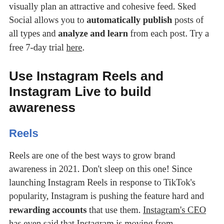visually plan an attractive and cohesive feed. Sked Social allows you to automatically publish posts of all types and analyze and learn from each post. Try a free 7-day trial here.
Use Instagram Reels and Instagram Live to build awareness
Reels
Reels are one of the best ways to grow brand awareness in 2021. Don’t sleep on this one! Since launching Instagram Reels in response to TikTok’s popularity, Instagram is pushing the feature hard and rewarding accounts that use them. Instagram’s CEO has even said that Instagram is moving from